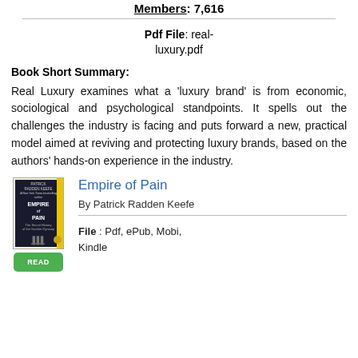Members: 7,616
Pdf File: real-luxury.pdf
Book Short Summary:
Real Luxury examines what a 'luxury brand' is from economic, sociological and psychological standpoints. It spells out the challenges the industry is facing and puts forward a new, practical model aimed at reviving and protecting luxury brands, based on the authors' hands-on experience in the industry.
Empire of Pain
By Patrick Radden Keefe
File : Pdf, ePub, Mobi, Kindle
[Figure (illustration): Book cover of Empire of Pain by Patrick Radden Keefe, dark background with column imagery and gold detail, yellow spine stripe]
[Figure (other): Green READ button below book cover]